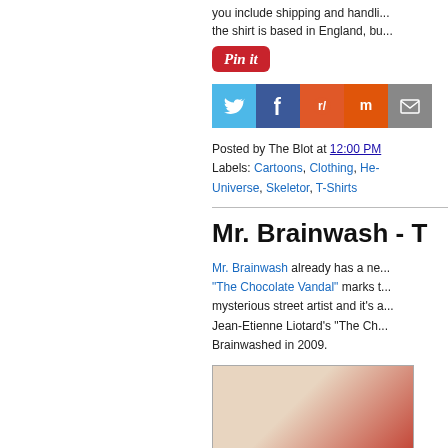you include shipping and handling the shirt is based in England, bu...
[Figure (other): Pin it button (red rounded rectangle with cursive white text 'Pin it')]
[Figure (other): Social share buttons: Twitter (blue bird), Facebook (blue f), Reddit (orange alien), Mix (orange m), Email (grey envelope)]
Posted by The Blot at 12:00 PM
Labels: Cartoons, Clothing, He-Universe, Skeletor, T-Shirts
Mr. Brainwash - T
Mr. Brainwash already has a ne... "The Chocolate Vandal" marks t... mysterious street artist and it's a... Jean-Etienne Liotard's "The Ch... Brainwashed in 2009.
[Figure (photo): Framed artwork with red graffiti-style illustration on a light background (partially visible at bottom right)]